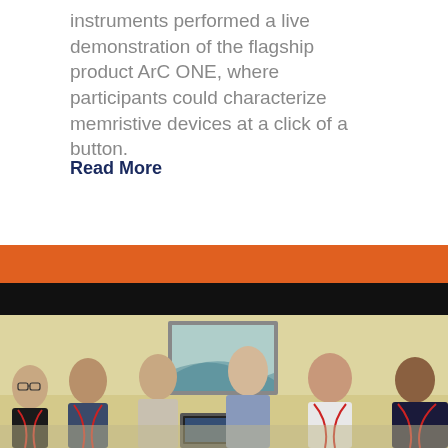instruments performed a live demonstration of the flagship product ArC ONE, where participants could characterize memristive devices at a click of a button.
Read More
[Figure (photo): Group photo of six people standing together indoors in front of a framed picture on a wall. Some are wearing red lanyards. A laptop or device is visible in the center.]